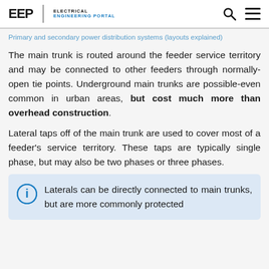EEP | ELECTRICAL ENGINEERING PORTAL
Primary and secondary power distribution systems (layouts explained)
The main trunk is routed around the feeder service territory and may be connected to other feeders through normally-open tie points. Underground main trunks are possible-even common in urban areas, but cost much more than overhead construction.
Lateral taps off of the main trunk are used to cover most of a feeder's service territory. These taps are typically single phase, but may also be two phases or three phases.
Laterals can be directly connected to main trunks, but are more commonly protected